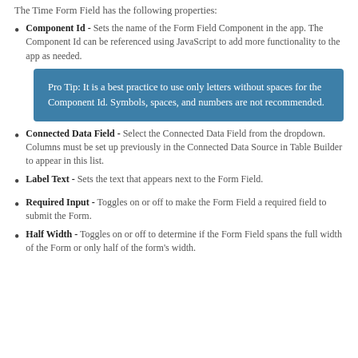The Time Form Field has the following properties:
Component Id - Sets the name of the Form Field Component in the app. The Component Id can be referenced using JavaScript to add more functionality to the app as needed.
Pro Tip: It is a best practice to use only letters without spaces for the Component Id. Symbols, spaces, and numbers are not recommended.
Connected Data Field - Select the Connected Data Field from the dropdown. Columns must be set up previously in the Connected Data Source in Table Builder to appear in this list.
Label Text - Sets the text that appears next to the Form Field.
Required Input - Toggles on or off to make the Form Field a required field to submit the Form.
Half Width - Toggles on or off to determine if the Form Field spans the full width of the Form or only half of the form's width.